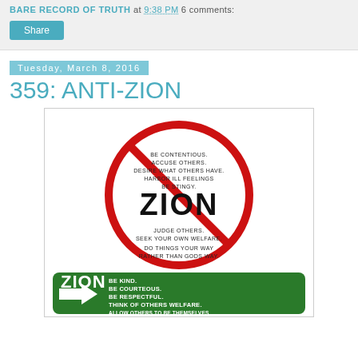BARE RECORD OF TRUTH at 9:38 PM   6 comments:
Share
Tuesday, March 8, 2016
359: ANTI-ZION
[Figure (illustration): Two signs: top sign is a round red 'no' symbol (circle with diagonal bar) containing the word ZION in bold black, with text listing negative behaviors: BE CONTENTIOUS. ACCUSE OTHERS. DESIRE WHAT OTHERS HAVE. HARBOR ILL FEELINGS. BE STINGY. JUDGE OTHERS. SEEK YOUR OWN WELFARE. DO THINGS YOUR WAY RATHER THAN GODS WAY. Bottom sign is a green highway-style sign with ZION and an arrow, listing positive behaviors: BE KIND. BE COURTEOUS. BE RESPECTFUL. THINK OF OTHERS WELFARE. ALLOW OTHERS TO BE THEMSELVES. DON'T CRITICIZE OR CONDEMN.]